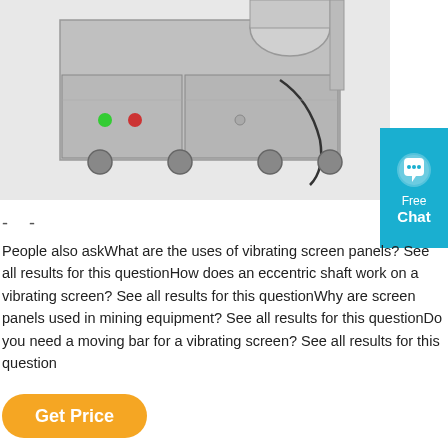[Figure (photo): Industrial vibrating screen machine with stainless steel casing, control panel with green and red indicator lights, and wheels for mobility]
[Figure (other): Free Chat widget button in cyan/blue]
- -
People also askWhat are the uses of vibrating screen panels? See all results for this questionHow does an eccentric shaft work on a vibrating screen? See all results for this questionWhy are screen panels used in mining equipment? See all results for this questionDo you need a moving bar for a vibrating screen? See all results for this question
Get Price